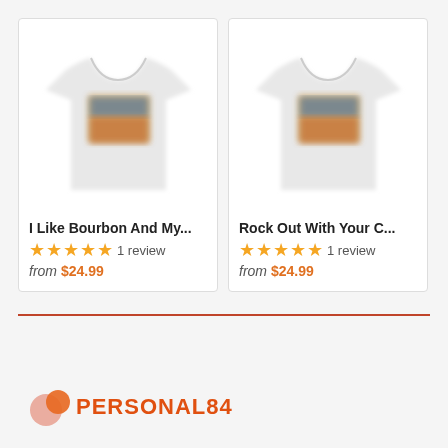[Figure (photo): Product card: t-shirt with graphic print, title 'I Like Bourbon And My...', 5 stars, 1 review, from $24.99]
[Figure (photo): Product card: t-shirt with graphic print, title 'Rock Out With Your C...', 5 stars, 1 review, from $24.99]
[Figure (logo): Personal84 logo with two overlapping circles (coral and orange) and text PERSONAL84 in orange]